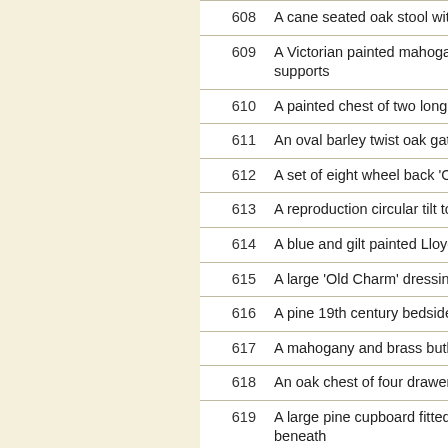| Lot | Description |
| --- | --- |
| 608 | A cane seated oak stool with… |
| 609 | A Victorian painted mahogany… supports |
| 610 | A painted chest of two long d… |
| 611 | An oval barley twist oak gate… |
| 612 | A set of eight wheel back 'O… |
| 613 | A reproduction circular tilt to… |
| 614 | A blue and gilt painted Lloyd… |
| 615 | A large 'Old Charm' dressing… |
| 616 | A pine 19th century bedside… |
| 617 | A mahogany and brass butle… |
| 618 | An oak chest of four drawers… |
| 619 | A large pine cupboard fitted… beneath |